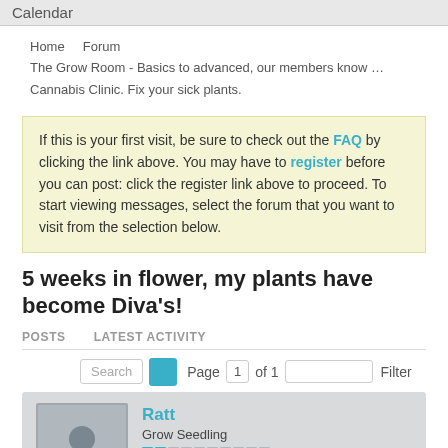Calendar
Home    Forum
The Grow Room - Basics to advanced, our members know …
Cannabis Clinic. Fix your sick plants.
If this is your first visit, be sure to check out the FAQ by clicking the link above. You may have to register before you can post: click the register link above to proceed. To start viewing messages, select the forum that you want to visit from the selection below.
5 weeks in flower, my plants have become Diva's!
POSTS    LATEST ACTIVITY
Search  Page 1 of 1  Filter
Ratt
Grow Seedling
Join Date: Aug 2018    Posts: 62